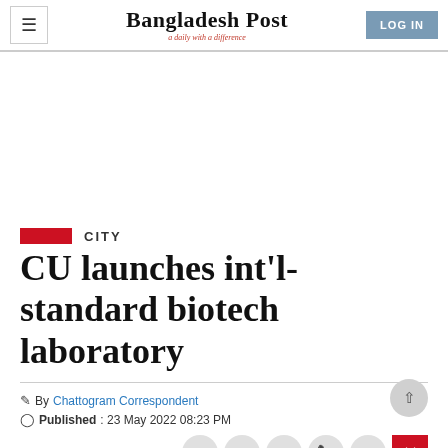Bangladesh Post — a daily with a difference
CITY
CU launches int'l-standard biotech laboratory
By Chattogram Correspondent
Published : 23 May 2022 08:23 PM